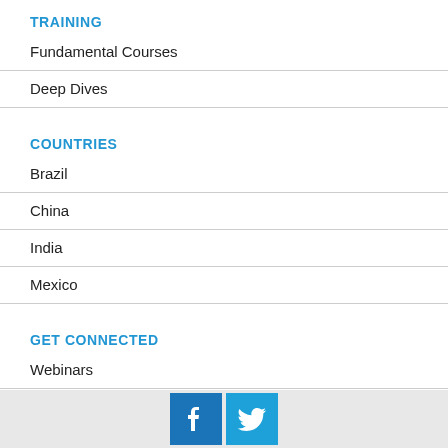TRAINING
Fundamental Courses
Deep Dives
COUNTRIES
Brazil
China
India
Mexico
GET CONNECTED
Webinars
Podcasts
Online & In-Person Events
Videos
[Figure (logo): Facebook and Twitter social media icons in blue square buttons]